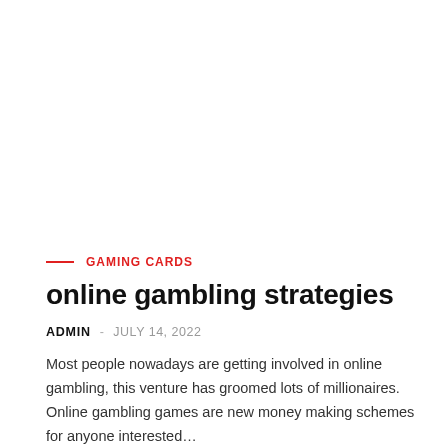GAMING CARDS
online gambling strategies
ADMIN  -  JULY 14, 2022
Most people nowadays are getting involved in online gambling, this venture has groomed lots of millionaires. Online gambling games are new money making schemes for anyone interested…
VIEW POST